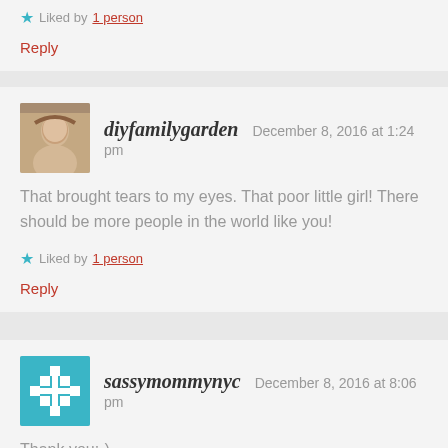★ Liked by 1 person
Reply
diyfamilygarden  December 8, 2016 at 1:24 pm
That brought tears to my eyes. That poor little girl! There should be more people in the world like you!
★ Liked by 1 person
Reply
sassymommynyc  December 8, 2016 at 8:06 pm
Thank you:-).